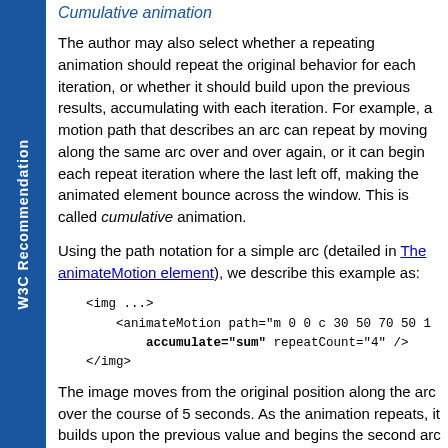W3C Recommendation
Cumulative animation
The author may also select whether a repeating animation should repeat the original behavior for each iteration, or whether it should build upon the previous results, accumulating with each iteration. For example, a motion path that describes an arc can repeat by moving along the same arc over and over again, or it can begin each repeat iteration where the last left off, making the animated element bounce across the window. This is called cumulative animation.
Using the path notation for a simple arc (detailed in The animateMotion element), we describe this example as:
<img ...>
    <animateMotion path="m 0 0 c 30 50 70 50 1
        accumulate="sum" repeatCount="4" />
</img>
The image moves from the original position along the arc over the course of 5 seconds. As the animation repeats, it builds upon the previous value and begins the second arc where the first